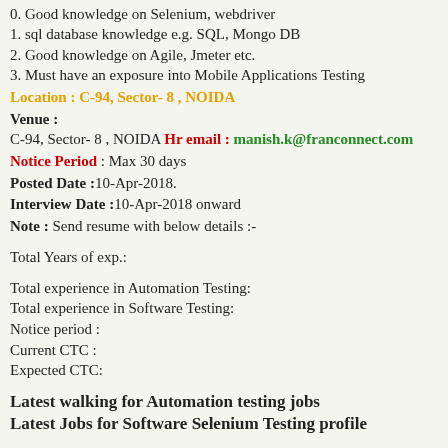0. Good knowledge on Selenium, webdriver
1. sql database knowledge e.g. SQL, Mongo DB
2. Good knowledge on Agile, Jmeter etc.
3. Must have an exposure into Mobile Applications Testing
Location : C-94, Sector- 8 , NOIDA
Venue :
C-94, Sector- 8 , NOIDA Hr email : manish.k@franconnect.com
Notice Period : Max 30 days
Posted Date :10-Apr-2018.
Interview Date :10-Apr-2018 onward
Note : Send resume with below details :-
Total Years of exp.:
Total experience in Automation Testing:
Total experience in Software Testing:
Notice period :
Current CTC :
Expected CTC:
Latest walking for Automation testing jobs
Latest Jobs for Software Selenium Testing profile